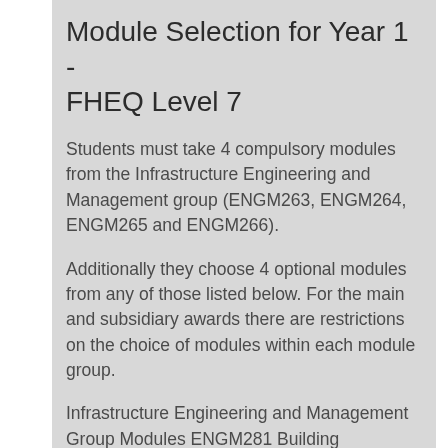Module Selection for Year 1 - FHEQ Level 7
Students must take 4 compulsory modules from the Infrastructure Engineering and Management group (ENGM263, ENGM264, ENGM265 and ENGM266).
Additionally they choose 4 optional modules from any of those listed below. For the main and subsidiary awards there are restrictions on the choice of modules within each module group.
Infrastructure Engineering and Management Group Modules ENGM281 Building Information Modelling